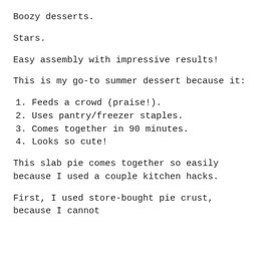Boozy desserts.
Stars.
Easy assembly with impressive results!
This is my go-to summer dessert because it:
1. Feeds a crowd (praise!).
2. Uses pantry/freezer staples.
3. Comes together in 90 minutes.
4. Looks so cute!
This slab pie comes together so easily because I used a couple kitchen hacks.
First, I used store-bought pie crust, because I cannot